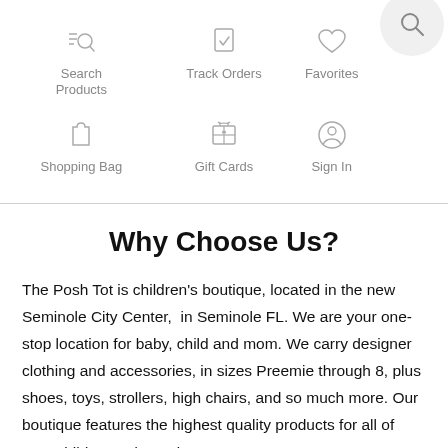[Figure (infographic): Navigation icons grid: Search Products (magnifier with lines icon), Track Orders (checkbox with checkmark icon), Favorites (heart icon), Shopping Bag (bag icon), Gift Cards (gift box icon), Sign In (person icon). A circular search button appears top right.]
Why Choose Us?
The Posh Tot is children's boutique, located in the new Seminole City Center,  in Seminole FL. We are your one-stop location for baby, child and mom. We carry designer clothing and accessories, in sizes Preemie through 8, plus shoes, toys, strollers, high chairs, and so much more. Our boutique features the highest quality products for all of your child's needs, and we